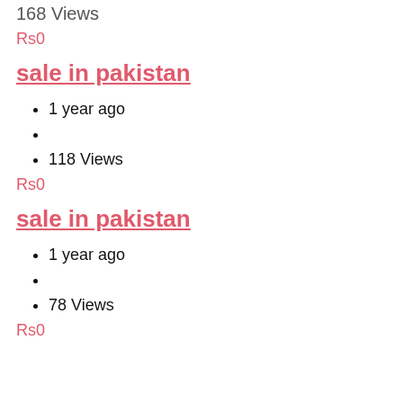168 Views
Rs0
sale in pakistan
1 year ago
118 Views
Rs0
sale in pakistan
1 year ago
78 Views
Rs0